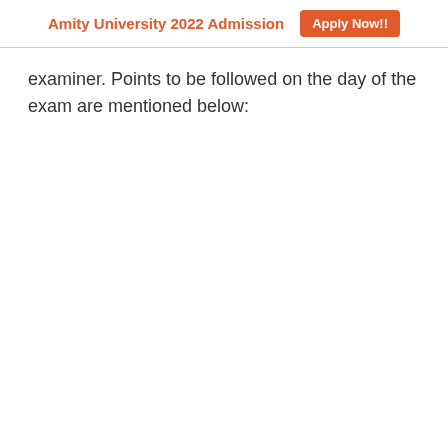Amity University 2022 Admission  Apply Now!!
examiner. Points to be followed on the day of the exam are mentioned below: